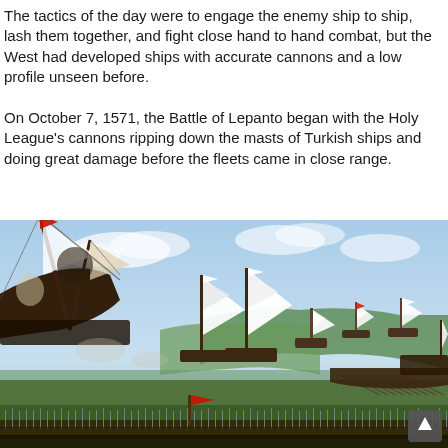The tactics of the day were to engage the enemy ship to ship, lash them together, and fight close hand to hand combat, but the West had developed ships with accurate cannons and a low profile unseen before.
On October 7, 1571, the Battle of Lepanto began with the Holy League's cannons ripping down the masts of Turkish ships and doing great damage before the fleets came in close range.
[Figure (photo): A historical painting depicting the Battle of Lepanto, showing naval warfare with tall-masted sailing ships, some listing or sinking, with soldiers and flags visible, set against a blue sky with green coastal landscape.]